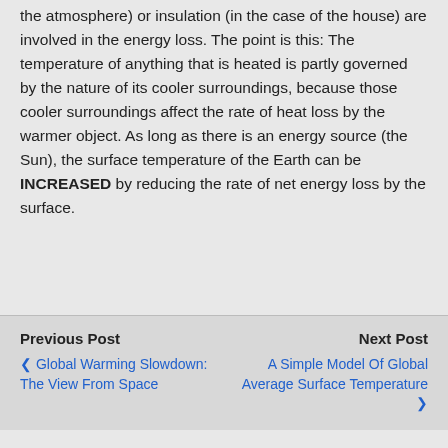the atmosphere) or insulation (in the case of the house) are involved in the energy loss. The point is this: The temperature of anything that is heated is partly governed by the nature of its cooler surroundings, because those cooler surroundings affect the rate of heat loss by the warmer object. As long as there is an energy source (the Sun), the surface temperature of the Earth can be INCREASED by reducing the rate of net energy loss by the surface.
Previous Post | Global Warming Slowdown: The View From Space || Next Post | A Simple Model Of Global Average Surface Temperature